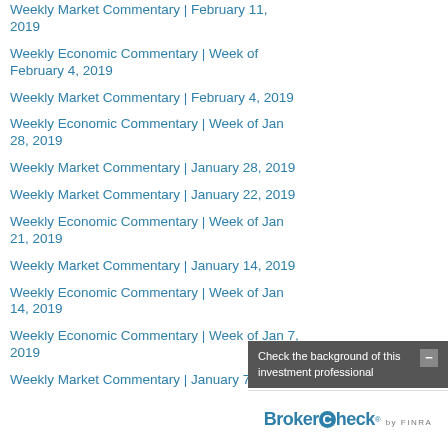Weekly Market Commentary | February 11, 2019
Weekly Economic Commentary | Week of February 4, 2019
Weekly Market Commentary | February 4, 2019
Weekly Economic Commentary | Week of Jan 28, 2019
Weekly Market Commentary | January 28, 2019
Weekly Market Commentary | January 22, 2019
Weekly Economic Commentary | Week of Jan 21, 2019
Weekly Market Commentary | January 14, 2019
Weekly Economic Commentary | Week of Jan 14, 2019
Weekly Economic Commentary | Week of Jan 7, 2019
Weekly Market Commentary | January 7, 2019